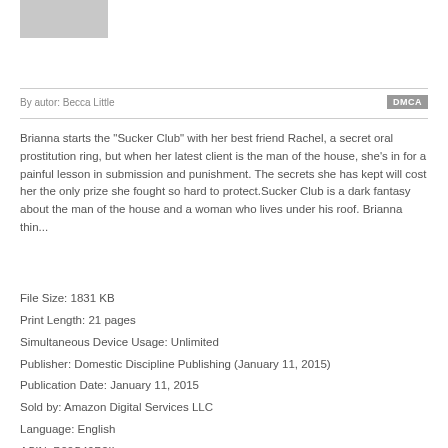[Figure (other): Gray placeholder rectangle representing book cover image]
By autor: Becca Little
DMCA
Brianna starts the "Sucker Club" with her best friend Rachel, a secret oral prostitution ring, but when her latest client is the man of the house, she's in for a painful lesson in submission and punishment. The secrets she has kept will cost her the only prize she fought so hard to protect.Sucker Club is a dark fantasy about the man of the house and a woman who lives under his roof. Brianna thin...
File Size: 1831 KB
Print Length: 21 pages
Simultaneous Device Usage: Unlimited
Publisher: Domestic Discipline Publishing (January 11, 2015)
Publication Date: January 11, 2015
Sold by: Amazon Digital Services LLC
Language: English
ASIN: B00S49B2II